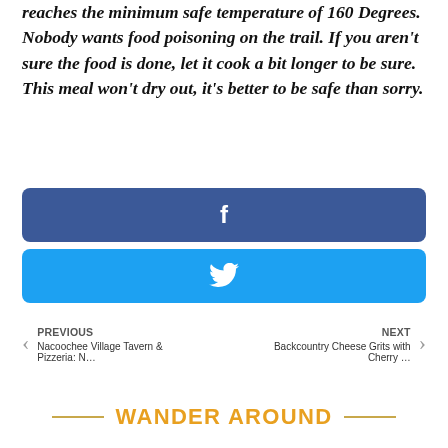reaches the minimum safe temperature of 160 Degrees. Nobody wants food poisoning on the trail. If you aren't sure the food is done, let it cook a bit longer to be sure. This meal won't dry out, it's better to be safe than sorry.
[Figure (other): Facebook share button — dark blue rounded rectangle with white Facebook 'f' icon]
[Figure (other): Twitter share button — sky blue rounded rectangle with white Twitter bird icon]
PREVIOUS
Nacoochee Village Tavern & Pizzeria: N…
NEXT
Backcountry Cheese Grits with Cherry …
WANDER AROUND